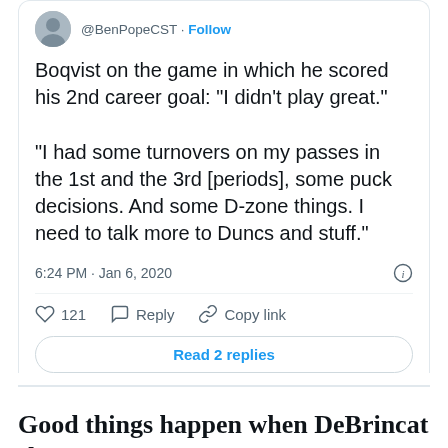@BenPopeCST · Follow
Boqvist on the game in which he scored his 2nd career goal: "I didn't play great."

"I had some turnovers on my passes in the 1st and the 3rd [periods], some puck decisions. And some D-zone things. I need to talk more to Duncs and stuff."
6:24 PM · Jan 6, 2020
121  Reply  Copy link
Read 2 replies
Good things happen when DeBrincat shoots
Alex DeBrincat scored a goal for the first time in four games. He's had a streaky, disappointing season with